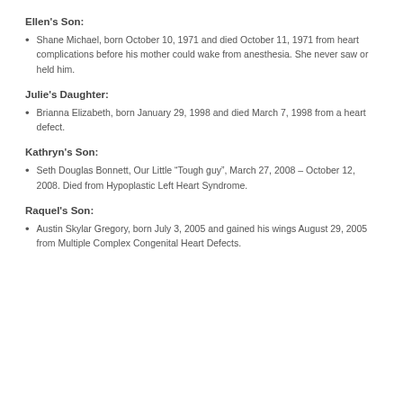Ellen's Son:
Shane Michael, born October 10, 1971 and died October 11, 1971 from heart complications before his mother could wake from anesthesia. She never saw or held him.
Julie's Daughter:
Brianna Elizabeth, born January 29, 1998 and died March 7, 1998 from a heart defect.
Kathryn's Son:
Seth Douglas Bonnett, Our Little “Tough guy”, March 27, 2008 – October 12, 2008. Died from Hypoplastic Left Heart Syndrome.
Raquel's Son:
Austin Skylar Gregory, born July 3, 2005 and gained his wings August 29, 2005 from Multiple Complex Congenital Heart Defects.